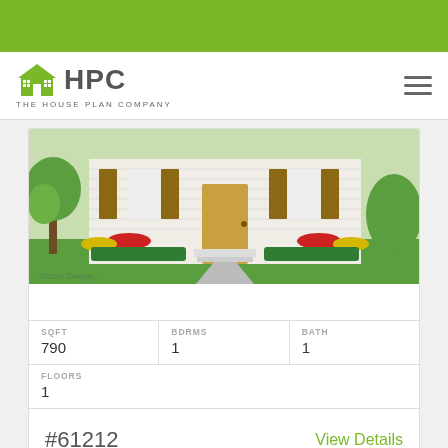[Figure (logo): HPC The House Plan Company logo with green house icon and hamburger menu icon]
[Figure (illustration): Exterior rendering of a small ranch-style house with white siding, brown shutters, colorful flower beds and a front walkway]
| SQFT | BDRMS | BATH |
| --- | --- | --- |
| 790 | 1 | 1 |
| FLOORS |
| --- |
| 1 |
#61212
View Details